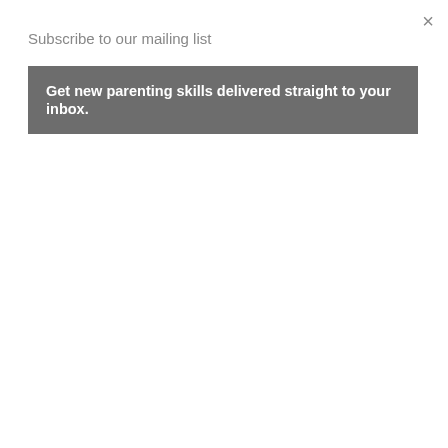Subscribe to our mailing list
×
Get new parenting skills delivered straight to your inbox.
Parenting Children and Teens with High-Functioning Autism
[Figure (photo): Book cover: Parenting Children and Teens with High-Functioning Autism: A Comprehensive Handbook by Mark Hutten, M.A. Dark background with rainbow spectrum graphic.]
works for us
May 27, 2012 at 7
Anonymous said.
For years I wonde diagnosis helps us stay calm with him
May 27, 2012 at 7
Anonymous said.
Always try to abor step ahead We are
Parenting Defiant Aspergers Teens - Audio Source
Search for
1. Symptoms of Asperger's
2. Aspergers Online Test